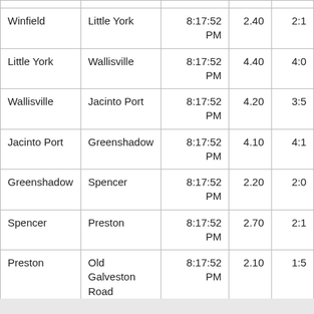|  |  |  |  |  |
| --- | --- | --- | --- | --- |
| Winfield | Little York | 8:17:52 PM | 2.40 | 2:1 |
| Little York | Wallisville | 8:17:52 PM | 4.40 | 4:0 |
| Wallisville | Jacinto Port | 8:17:52 PM | 4.20 | 3:5 |
| Jacinto Port | Greenshadow | 8:17:52 PM | 4.10 | 4:1 |
| Greenshadow | Spencer | 8:17:52 PM | 2.20 | 2:0 |
| Spencer | Preston | 8:17:52 PM | 2.70 | 2:1 |
| Preston | Old Galveston Road | 8:17:52 PM | 2.10 | 1:5 |
| Summary |  |  | 27.1 | 25:1 |